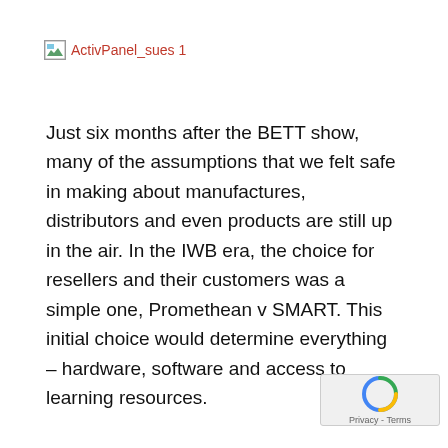[Figure (other): Broken image placeholder labeled 'ActivPanel_sues 1']
Just six months after the BETT show, many of the assumptions that we felt safe in making about manufactures, distributors and even products are still up in the air. In the IWB era, the choice for resellers and their customers was a simple one, Promethean v SMART. This initial choice would determine everything – hardware, software and access to learning resources.
The arrival of the IFPD, and the subsequent success of Clevertouch (complemented by Hitachi, BenQ, CTOUCH, Geneeworld and iBoard Touch, has cre an environment where vendors with touchscreen capabilities and identified the